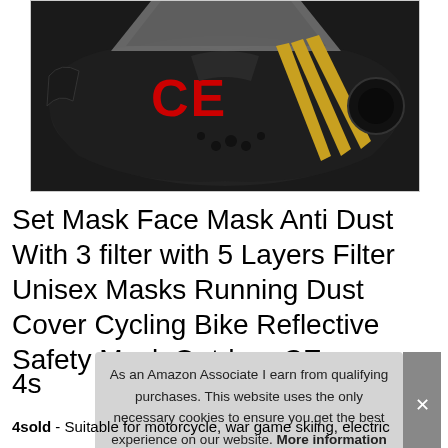[Figure (photo): Black anti-dust cycling face mask with red CE letters and gold decorative stripes, shown from the inside/back view. Black neoprene material with vents and filter area visible.]
Set Mask Face Mask Anti Dust With 3 filter with 5 Layers Filter Unisex Masks Running Dust Cover Cycling Bike Reflective Safety Mask Outdoor CE 4s
As an Amazon Associate I earn from qualifying purchases. This website uses the only necessary cookies to ensure you get the best experience on our website. More information
4sold - Suitable for motorcycle, war game skiing, electric